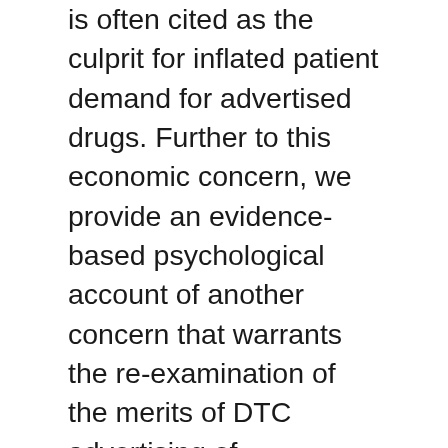is often cited as the culprit for inflated patient demand for advertised drugs. Further to this economic concern, we provide an evidence-based psychological account of another concern that warrants the re-examination of the merits of DTC advertising of prescription drugs. Across six experiments and a sample of 3,059 US participants, we find reliable evidence for the argument dilution effect. Specifically, when commercials list severe side effects along with those that are most frequent (which include both serious and minor side effects), as required by the Food and Drug Administration, it dilutes consumers' judgements of the overall severity of the side effects, compared with when only the serious side effects